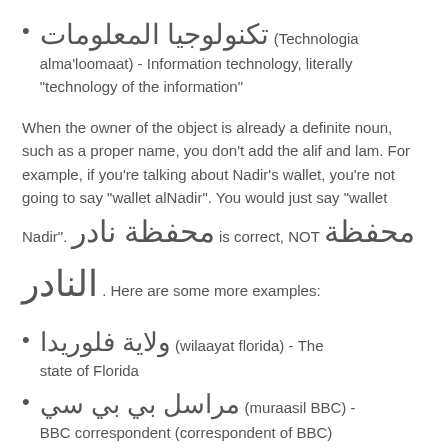تكنولوجيا المعلومات (Technologia alma'loomaat) - Information technology, literally "technology of the information"
When the owner of the object is already a definite noun, such as a proper name, you don't add the alif and lam. For example, if you're talking about Nadir's wallet, you're not going to say "wallet alNadir". You would just say "wallet Nadir". محفظة نادر is correct, NOT محفظة النادر . Here are some more examples:
ولاية فلوريدا (wilaayat florida) - The state of Florida
مراسل بي بي سي (muraasil BBC) - BBC correspondent (correspondent of BBC)